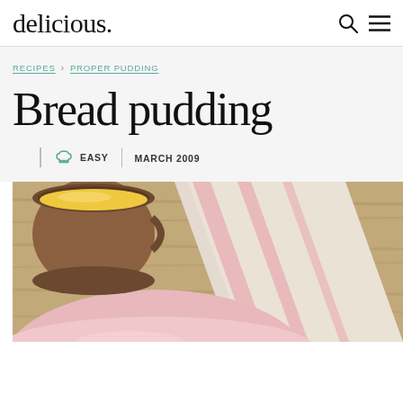delicious.
RECIPES > PROPER PUDDING
Bread pudding
EASY | MARCH 2009
[Figure (photo): Overhead photo of bread pudding ingredients on a wooden surface: a cup of yellow custard sauce, a pink ceramic bowl, and a pink-and-white striped kitchen cloth.]